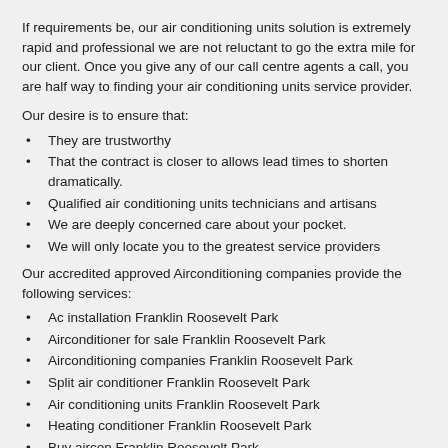If requirements be, our air conditioning units solution is extremely rapid and professional we are not reluctant to go the extra mile for our client. Once you give any of our call centre agents a call, you are half way to finding your air conditioning units service provider.
Our desire is to ensure that:
They are trustworthy
That the contract is closer to allows lead times to shorten dramatically.
Qualified air conditioning units technicians and artisans
We are deeply concerned care about your pocket.
We will only locate you to the greatest service providers
Our accredited approved Airconditioning companies provide the following services:
Ac installation Franklin Roosevelt Park
Airconditioner for sale Franklin Roosevelt Park
Airconditioning companies Franklin Roosevelt Park
Split air conditioner Franklin Roosevelt Park
Air conditioning units Franklin Roosevelt Park
Heating conditioner Franklin Roosevelt Park
Buy aircon Franklin Roosevelt Park
Hvac unit repairs Franklin Roosevelt Park
Lg air conditioners prices Franklin Roosevelt Park
Air conditioning installers Franklin Roosevelt Park
Lg air conditioners Franklin Roosevelt Park